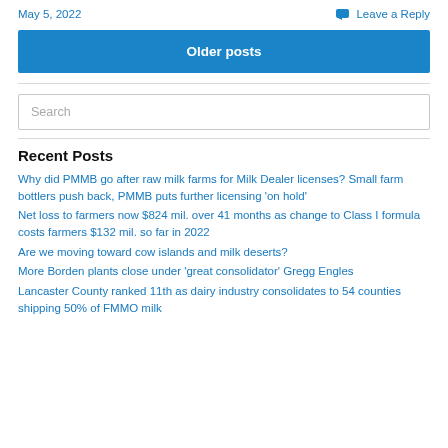May 5, 2022
Leave a Reply
Older posts
Search
Recent Posts
Why did PMMB go after raw milk farms for Milk Dealer licenses? Small farm bottlers push back, PMMB puts further licensing ‘on hold’
Net loss to farmers now $824 mil. over 41 months as change to Class I formula costs farmers $132 mil. so far in 2022
Are we moving toward cow islands and milk deserts?
More Borden plants close under ‘great consolidator’ Gregg Engles
Lancaster County ranked 11th as dairy industry consolidates to 54 counties shipping 50% of FMMO milk